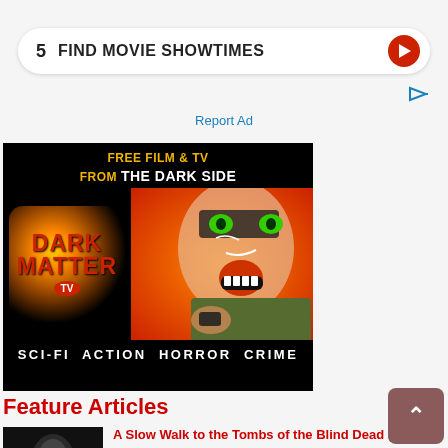5  FIND MOVIE SHOWTIMES
Report Ad
[Figure (illustration): Dark Matter TV advertisement banner showing horror/sci-fi themed artwork with a zombie-like face, text 'FREE FILM & TV FROM THE DARK SIDE', Dark Matter TV logo, and 'SCI-FI ACTION HORROR CRIME' at the bottom]
Feature Articles
A Slow Walk to the Tombs of the Blind Dead (1972)
08/16/2022